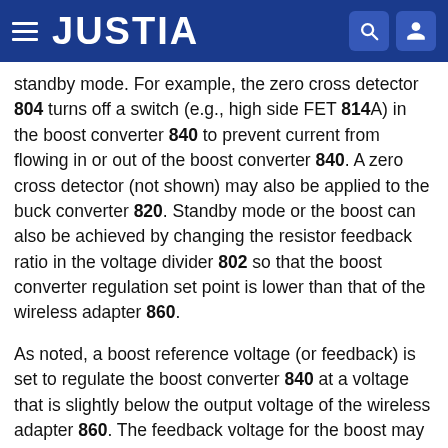JUSTIA
standby mode. For example, the zero cross detector 804 turns off a switch (e.g., high side FET 814A) in the boost converter 840 to prevent current from flowing in or out of the boost converter 840. A zero cross detector (not shown) may also be applied to the buck converter 820. Standby mode or the boost can also be achieved by changing the resistor feedback ratio in the voltage divider 802 so that the boost converter regulation set point is lower than that of the wireless adapter 860.
As noted, a boost reference voltage (or feedback) is set to regulate the boost converter 840 at a voltage that is slightly below the output voltage of the wireless adapter 860. The feedback voltage for the boost may be determined at an output of the peripheral device or an input to the first phase. For example, the feedback to the boost may be identified at node 838. The feedback